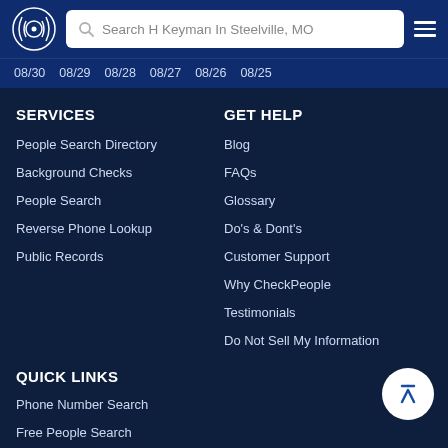Search H Keyman In Steelville, MO
08/30  08/29  08/28  08/27  08/26  08/25
SERVICES
People Search Directory
Background Checks
People Search
Reverse Phone Lookup
Public Records
GET HELP
Blog
FAQs
Glossary
Do's & Dont's
Customer Support
Why CheckPeople
Testimonials
Do Not Sell My Information
QUICK LINKS
Phone Number Search
Free People Search